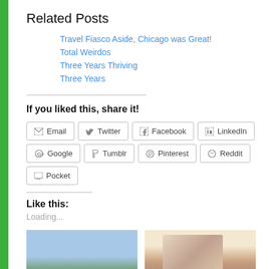Related Posts
Travel Fiasco Aside, Chicago was Great!
Total Weirdos
Three Years Thriving
Three Years
If you liked this, share it!
Email | Twitter | Facebook | LinkedIn | Google | Tumblr | Pinterest | Reddit | Pocket
Like this:
Loading...
[Figure (photo): Outdoor landscape photo with sky and greenery]
[Figure (photo): Photo of a person with dark hair and a flower accessory]